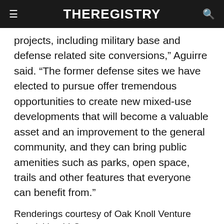THEREGISTRY
projects, including military base and defense related site conversions,” Aguirre said. “The former defense sites we have elected to pursue offer tremendous opportunities to create new mixed-use developments that will become a valuable asset and an improvement to the general community, and they can bring public amenities such as parks, open space, trails and other features that everyone can benefit from.”
Renderings courtesy of Oak Knoll Venture Acquisition LLC
West Coast Commercial Real Estate News
TAGS: Bay Area, Catellus, East Bay, East Bay Economic Development Alliance, Hart Howerton, Lennar, Oak Knoll, Oakland, San Francisco, SunCal